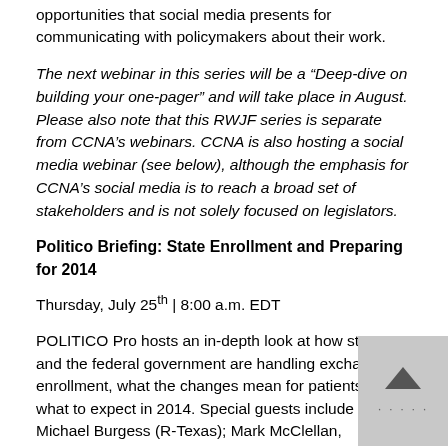opportunities that social media presents for communicating with policymakers about their work.
The next webinar in this series will be a “Deep-dive on building your one-pager” and will take place in August. Please also note that this RWJF series is separate from CCNA’s webinars. CCNA is also hosting a social media webinar (see below), although the emphasis for CCNA’s social media is to reach a broad set of stakeholders and is not solely focused on legislators.
Politico Briefing: State Enrollment and Preparing for 2014
Thursday, July 25th | 8:00 a.m. EDT
POLITICO Pro hosts an in-depth look at how states and the federal government are handling exchange enrollment, what the changes mean for patients and what to expect in 2014. Special guests include Rep. Michael Burgess (R-Texas); Mark McClellan, Brookings Engelberg Center for Health Reform; Marian Mulkey, California HealthCare Foundation and Fmr. Gov. Mark Parkinson, AHCA/NCAL.
This is a great opportunity for nurses to learn more so they can